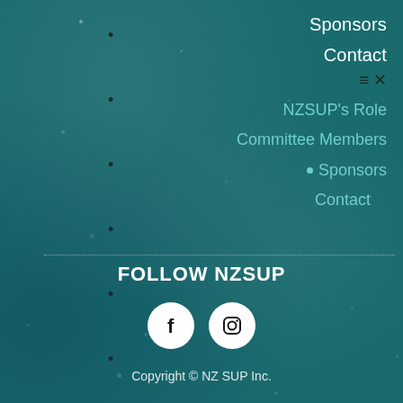Sponsors
Contact
NZSUP's Role
Committee Members
Sponsors
Contact
FOLLOW NZSUP
[Figure (illustration): Facebook and Instagram social media icon circles]
Copyright © NZ SUP Inc.